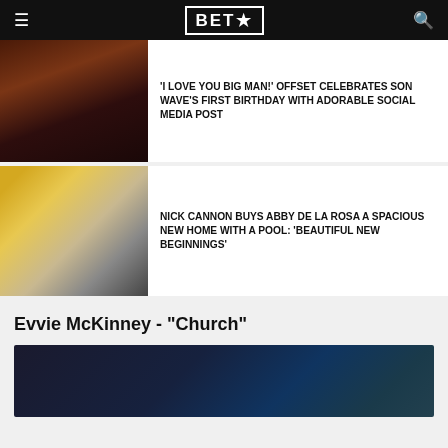BET★
'I LOVE YOU BIG MAN!' OFFSET CELEBRATES SON WAVE'S FIRST BIRTHDAY WITH ADORABLE SOCIAL MEDIA POST
NICK CANNON BUYS ABBY DE LA ROSA A SPACIOUS NEW HOME WITH A POOL: 'BEAUTIFUL NEW BEGINNINGS'
Evvie McKinney - "Church"
[Figure (photo): Video thumbnail showing a dark scene]